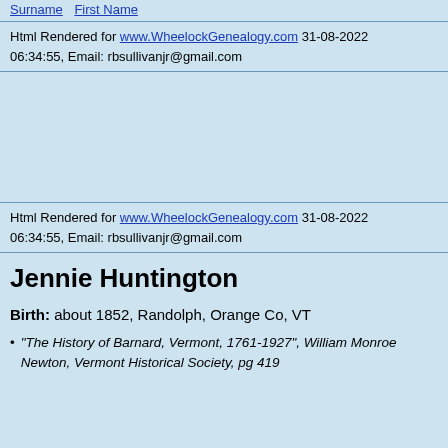Html Rendered for www.WheelockGenealogy.com 31-08-2022 06:34:55, Email: rbsullivanjr@gmail.com
Html Rendered for www.WheelockGenealogy.com 31-08-2022 06:34:55, Email: rbsullivanjr@gmail.com
Jennie Huntington
Birth: about 1852, Randolph, Orange Co, VT
"The History of Barnard, Vermont, 1761-1927", William Monroe Newton, Vermont Historical Society, pg 419